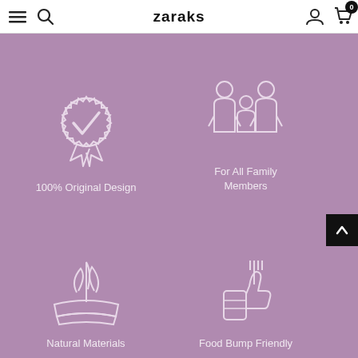zaraks
[Figure (infographic): Four feature icons on purple background: badge with checkmark (100% Original Design), family silhouette (For All Family Members), folded fabric with leaves (Natural Materials), thumbs up with fork (Food Bump Friendly)]
100% Original Design
For All Family Members
Natural Materials
Food Bump Friendly